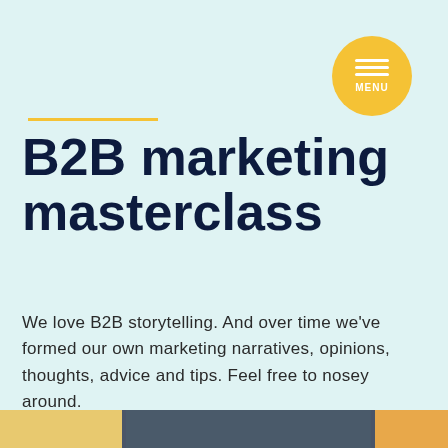[Figure (other): Yellow circular menu button with three white horizontal bars and 'MENU' label]
B2B marketing masterclass
We love B2B storytelling. And over time we’ve formed our own marketing narratives, opinions, thoughts, advice and tips. Feel free to nosey around.
Our website stores cookies on your computer. These cookies are used to improve and provide more personalised experience to you. To find out more about the cookies we use, see our Privacy Policy
I ACCEPT — I decline   Cookies settings